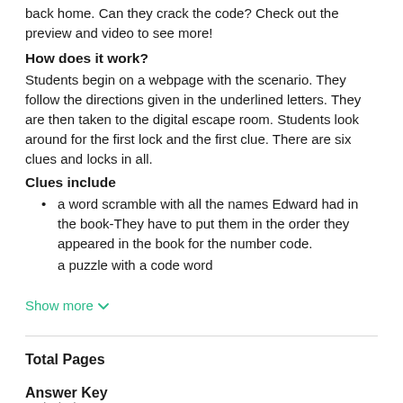back home. Can they crack the code? Check out the preview and video to see more!
How does it work?
Students begin on a webpage with the scenario. They follow the directions given in the underlined letters. They are then taken to the digital escape room. Students look around for the first lock and the first clue. There are six clues and locks in all.
Clues include
a word scramble with all the names Edward had in the book-They have to put them in the order they appeared in the book for the number code.
a puzzle with a code word
Show more
Total Pages
Answer Key
Included
Teaching Duration